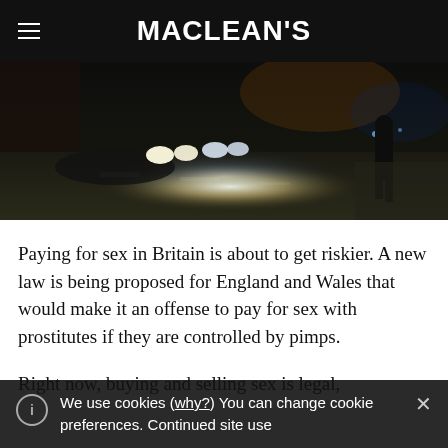MACLEAN'S
[Figure (photo): Nighttime street scene with a figure standing on a sidewalk, car headlights visible on a dark road]
Paying for sex in Britain is about to get riskier. A new law is being proposed for England and Wales that would make it an offense to pay for sex with prostitutes if they are controlled by pimps.
Right now, buying and selling sex is legal,
We use cookies (why?) You can change cookie preferences. Continued site use